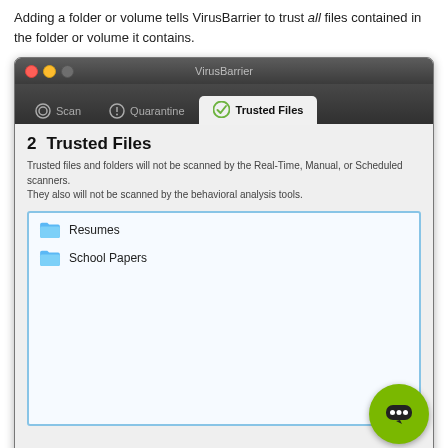Adding a folder or volume tells VirusBarrier to trust all files contained in the folder or volume it contains.
[Figure (screenshot): VirusBarrier application window showing the Trusted Files tab. The toolbar shows Scan, Quarantine, and Trusted Files tabs, with Trusted Files active. The content area shows a section numbered 2 titled 'Trusted Files' with description text about trusted files not being scanned. A file list box shows two entries: 'Resumes' and 'School Papers' both with blue folder icons. A green chat button is visible in the bottom-right corner.]